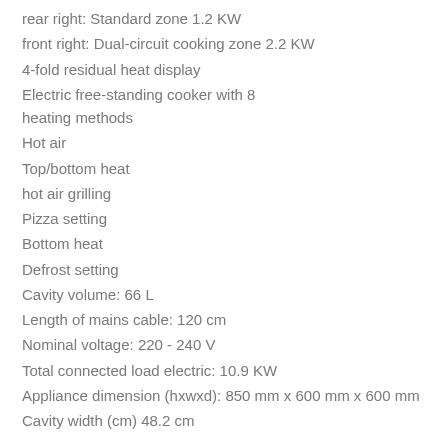rear right: Standard zone 1.2 KW
front right: Dual-circuit cooking zone 2.2 KW
4-fold residual heat display
Electric free-standing cooker with 8 heating methods
Hot air
Top/bottom heat
hot air grilling
Pizza setting
Bottom heat
Defrost setting
Cavity volume: 66 L
Length of mains cable: 120 cm
Nominal voltage: 220 - 240 V
Total connected load electric: 10.9 KW
Appliance dimension (hxwxd): 850 mm x 600 mm x 600 mm
Cavity width (cm) 48.2 cm